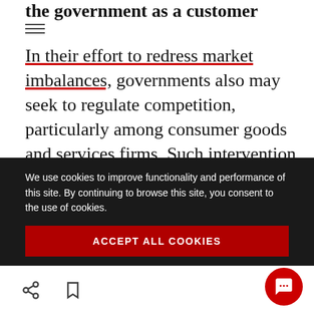the government as a customer
In their effort to redress market imbalances, governments also may seek to regulate competition, particularly among consumer goods and services firms. Such intervention is most likely in sectors facing high inflation, such as healthcare, but also potentially in any large, highly concentrated industry or sector. It is not a
We use cookies to improve functionality and performance of this site. By continuing to browse this site, you consent to the use of cookies.
ACCEPT ALL COOKIES